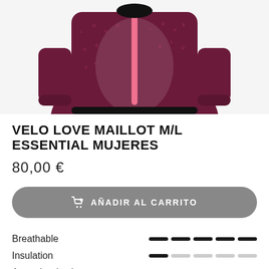[Figure (photo): Product photo of a dark burgundy/maroon long-sleeve cycling jersey (maillot) with pink zipper and small letter pattern, shown from the front torso area cropped at top]
VELO LOVE MAILLOT M/L ESSENTIAL MUJERES
80,00 €
AÑADIR AL CARRITO
Breathable
Insulation
A prueba de viento